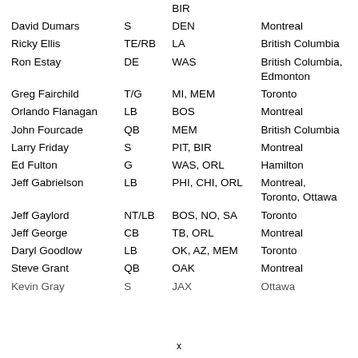| Name | Position | Teams | CFL City |
| --- | --- | --- | --- |
|  |  | BIR |  |
| David Dumars | S | DEN | Montreal |
| Ricky Ellis | TE/RB | LA | British Columbia |
| Ron Estay | DE | WAS | British Columbia, Edmonton |
| Greg Fairchild | T/G | MI, MEM | Toronto |
| Orlando Flanagan | LB | BOS | Montreal |
| John Fourcade | QB | MEM | British Columbia |
| Larry Friday | S | PIT, BIR | Montreal |
| Ed Fulton | G | WAS, ORL | Hamilton |
| Jeff Gabrielson | LB | PHI, CHI, ORL | Montreal, Toronto, Ottawa |
| Jeff Gaylord | NT/LB | BOS, NO, SA | Toronto |
| Jeff George | CB | TB, ORL | Montreal |
| Daryl Goodlow | LB | OK, AZ, MEM | Toronto |
| Steve Grant | QB | OAK | Montreal |
| Kevin Gray | S | JAX | Ottawa |
x